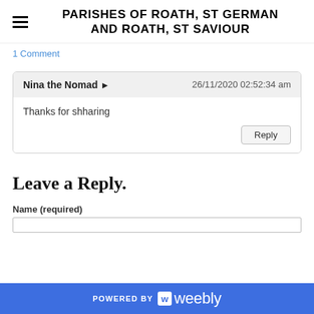PARISHES OF ROATH, ST GERMAN AND ROATH, ST SAVIOUR
1 Comment
Nina the Nomad → 26/11/2020 02:52:34 am
Thanks for shharing
Leave a Reply.
Name (required)
POWERED BY weebly